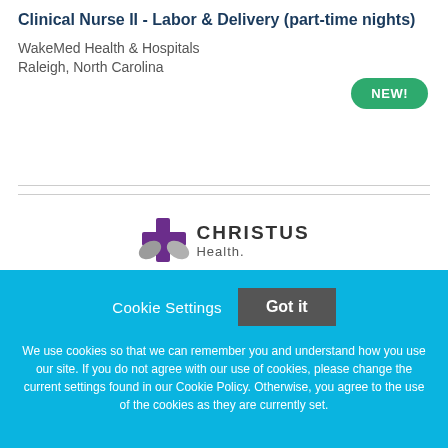Clinical Nurse II - Labor & Delivery (part-time nights)
WakeMed Health & Hospitals
Raleigh, North Carolina
[Figure (logo): CHRISTUS Health logo with purple cross and text]
Cookie Settings  Got it
We use cookies so that we can remember you and understand how you use our site. If you do not agree with our use of cookies, please change the current settings found in our Cookie Policy. Otherwise, you agree to the use of the cookies as they are currently set.